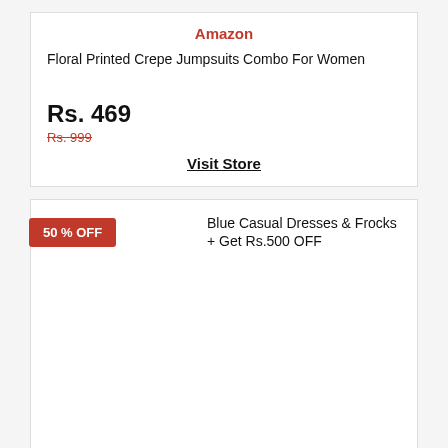Amazon
Floral Printed Crepe Jumpsuits Combo For Women
Rs. 469
Rs. 999
Visit Store
50 % OFF
Biba Blue Casual Dresses & Frocks + Get Rs.500 OFF
Amazon
Biba Blue Casual Dresses & Frocks + Get Rs.500 OFF